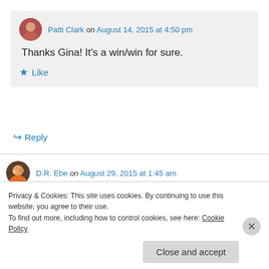Patti Clark on August 14, 2015 at 4:50 pm
Thanks Gina! It's a win/win for sure.
★ Like
↪ Reply
D.R. Ebe on August 29, 2015 at 1:45 am
Wow! This is so powerful! Thanks for leading me
Privacy & Cookies: This site uses cookies. By continuing to use this website, you agree to their use. To find out more, including how to control cookies, see here: Cookie Policy
Close and accept